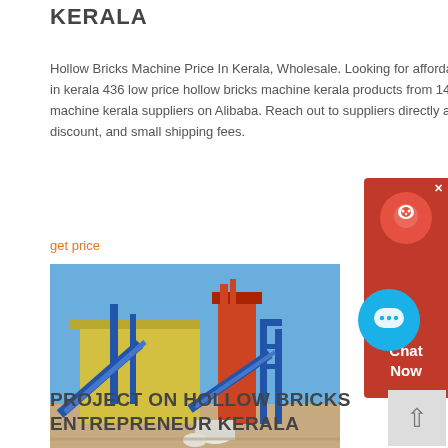KERALA
Hollow Bricks Machine Price In Kerala, Wholesale. Looking for affordable hollow bricks machine price in kerala 436 low price hollow bricks machine kerala products from 145 trustworthy hollow bricks machine kerala suppliers on Alibaba. Reach out to suppliers directly and ask for the lowest price, discount, and small shipping fees.
get price
[Figure (photo): Industrial hollow bricks manufacturing machine with blue metal framework, conveyor belts, and large industrial structures set against a clear blue sky on sandy ground.]
PROJECT ON HOLLOW BRICKS ENTREPRENEUR KERALA